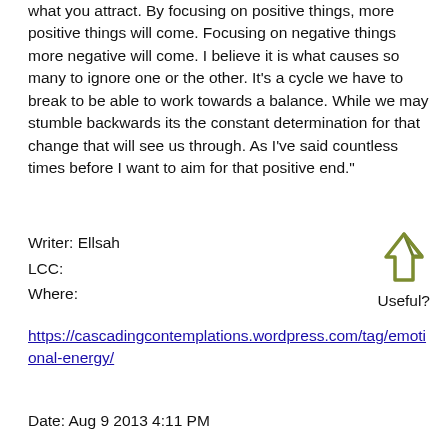what you attract. By focusing on positive things, more positive things will come. Focusing on negative things more negative will come. I believe it is what causes so many to ignore one or the other. It's a cycle we have to break to be able to work towards a balance. While we may stumble backwards its the constant determination for that change that will see us through. As I've said countless times before I want to aim for that positive end."
Writer: Ellsah
LCC:
Where:
[Figure (illustration): Upward pointing arrow/thumb-up icon in olive/green outline style with label 'Useful?']
https://cascadingcontemplations.wordpress.com/tag/emotional-energy/
Date: Aug 9 2013 4:11 PM